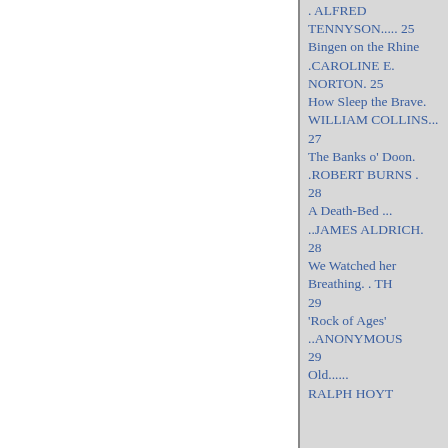. ALFRED TENNYSON..... 25
Bingen on the Rhine
.CAROLINE E. NORTON. 25
How Sleep the Brave.
WILLIAM COLLINS... 27
The Banks o' Doon.
.ROBERT BURNS . 28
A Death-Bed ...
..JAMES ALDRICH. 28
We Watched her Breathing. . TH
29
'Rock of Ages'
..ANONYMOUS
29
Old......
RALPH HOYT